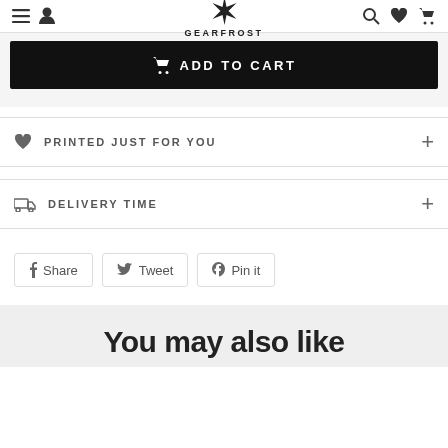GEARFROST
ADD TO CART
PRINTED JUST FOR YOU
DELIVERY TIME
Share
Tweet
Pin it
You may also like